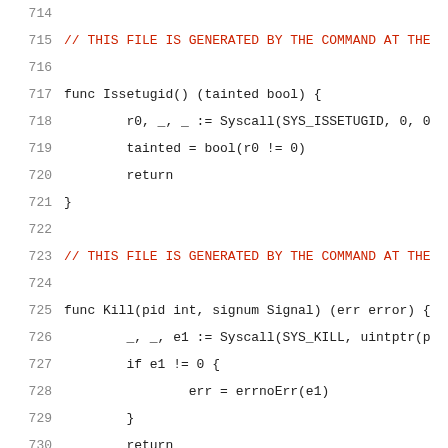714  (empty line)
715  // THIS FILE IS GENERATED BY THE COMMAND AT THE
716  (empty line)
717  func Issetugid() (tainted bool) {
718          r0, _, _ := Syscall(SYS_ISSETUGID, 0, 0
719          tainted = bool(r0 != 0)
720          return
721  }
722  (empty line)
723  // THIS FILE IS GENERATED BY THE COMMAND AT THE
724  (empty line)
725  func Kill(pid int, signum Signal) (err error) {
726          _, _, e1 := Syscall(SYS_KILL, uintptr(p
727          if e1 != 0 {
728                  err = errnoErr(e1)
729          }
730          return
731  }
732  (empty line)
733  // THIS FILE IS GENERATED BY THE COMMAND AT THE
734  (empty line)